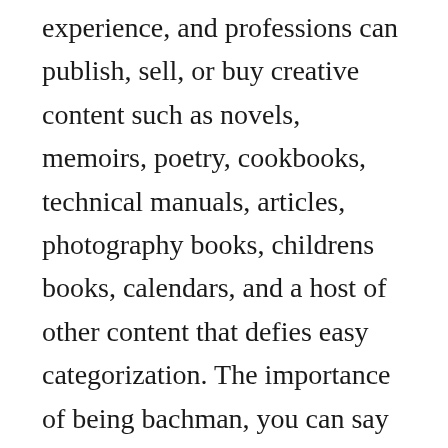experience, and professions can publish, sell, or buy creative content such as novels, memoirs, poetry, cookbooks, technical manuals, articles, photography books, childrens books, calendars, and a host of other content that defies easy categorization. The importance of being bachman, you can say is a reflection of the theme that has given within the book, just to allow them to get entertained and enjoyed as well. A brilliantly atmospheric thriller for fans of len deighton and jack higgins. The new american standard bible is widely embraced and trusted as a literal